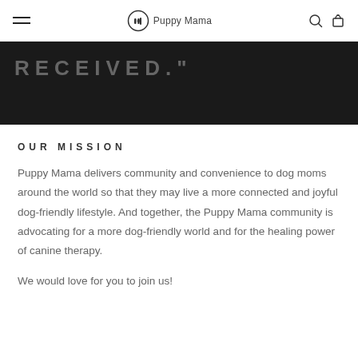Puppy Mama (navigation bar with hamburger menu, logo, search and cart icons)
[Figure (screenshot): Black banner with partial quote text 'RECEIVED."' in large spaced gray uppercase letters on dark background]
OUR MISSION
Puppy Mama delivers community and convenience to dog moms around the world so that they may live a more connected and joyful dog-friendly lifestyle. And together, the Puppy Mama community is advocating for a more dog-friendly world and for the healing power of canine therapy.
We would love for you to join us!
(partial text cut off at bottom)